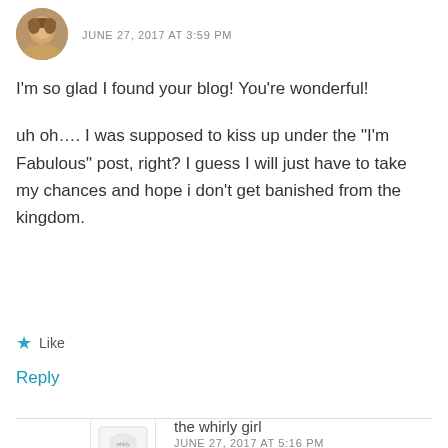[Figure (photo): Circular avatar photo of a person, appearing to be a woman, cropped to a circle]
JUNE 27, 2017 AT 3:59 PM
I'm so glad I found your blog! You're wonderful!
uh oh…. I was supposed to kiss up under the "I'm Fabulous" post, right? I guess I will just have to take my chances and hope i don't get banished from the kingdom.
★ Like
Reply
[Figure (logo): The Whirly Girl blog logo: small illustrated image with text THE WHIRLY GIRL below]
the whirly girl
JUNE 27, 2017 AT 5:16 PM